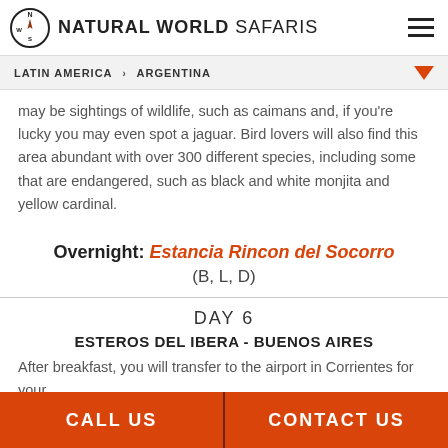NATURAL WORLD SAFARIS
LATIN AMERICA > ARGENTINA
may be sightings of wildlife, such as caimans and, if you're lucky you may even spot a jaguar. Bird lovers will also find this area abundant with over 300 different species, including some that are endangered, such as black and white monjita and yellow cardinal.
Overnight: Estancia Rincon del Socorro
(B, L, D)
DAY 6
ESTEROS DEL IBERA - BUENOS AIRES
After breakfast, you will transfer to the airport in Corrientes for your
CALL US | CONTACT US